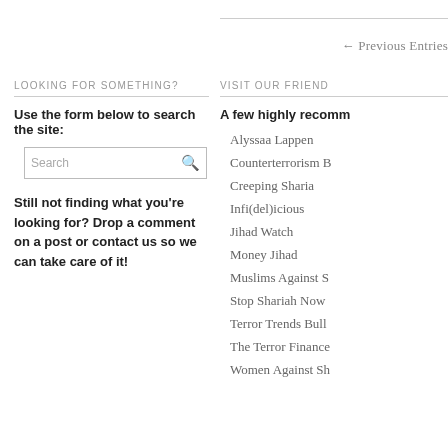← Previous Entries
LOOKING FOR SOMETHING?
Use the form below to search the site:
Search
Still not finding what you're looking for? Drop a comment on a post or contact us so we can take care of it!
VISIT OUR FRIEND
A few highly recomm
Alyssaa Lappen
Counterterrorism B
Creeping Sharia
Infi(del)icious
Jihad Watch
Money Jihad
Muslims Against S
Stop Shariah Now
Terror Trends Bull
The Terror Finance
Women Against Sh